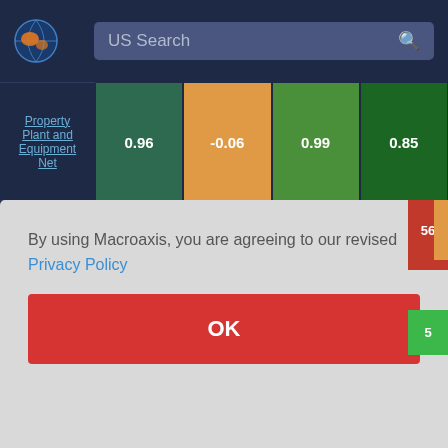[Figure (screenshot): Macroaxis website header with logo globe icon and US Search bar on dark navy background]
[Figure (table-as-image): Heatmap correlation table showing Property Plant and Equipment Net and Trade and Non Trade rows with colored cells: dark green (0.96), orange (-0.06), mid green (0.99), deep green (0.85) for row 1; bright green (0.48), orange (-0.16), bright green (0.49), bright green (0.31) for row 2; partial rows below including red cells with value 56 and green cell with value 5]
By using Macroaxis, you are agreeing to our revised Privacy Policy
OK